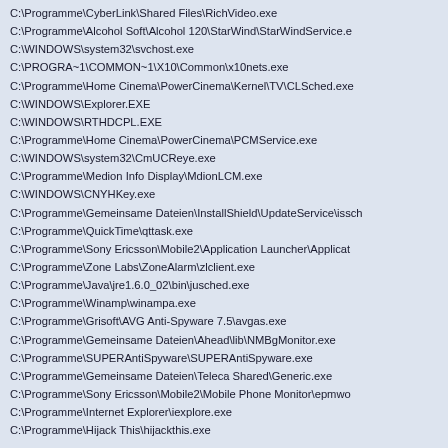C:\Programme\CyberLink\Shared Files\RichVideo.exe
C:\Programme\Alcohol Soft\Alcohol 120\StarWind\StarWindService.exe
C:\WINDOWS\system32\svchost.exe
C:\PROGRA~1\COMMON~1\X10\Common\x10nets.exe
C:\Programme\Home Cinema\PowerCinema\Kernel\TV\CLSched.exe
C:\WINDOWS\Explorer.EXE
C:\WINDOWS\RTHDCPL.EXE
C:\Programme\Home Cinema\PowerCinema\PCMService.exe
C:\WINDOWS\system32\CmUCReye.exe
C:\Programme\Medion Info Display\MdionLCM.exe
C:\WINDOWS\CNYHKey.exe
C:\Programme\Gemeinsame Dateien\InstallShield\UpdateService\issch
C:\Programme\QuickTime\qttask.exe
C:\Programme\Sony Ericsson\Mobile2\Application Launcher\Applicat
C:\Programme\Zone Labs\ZoneAlarm\zlclient.exe
C:\Programme\Java\jre1.6.0_02\bin\jusched.exe
C:\Programme\Winamp\winampa.exe
C:\Programme\Grisoft\AVG Anti-Spyware 7.5\avgas.exe
C:\Programme\Gemeinsame Dateien\Ahead\lib\NMBgMonitor.exe
C:\Programme\SUPERAntiSpyware\SUPERAntiSpyware.exe
C:\Programme\Gemeinsame Dateien\Teleca Shared\Generic.exe
C:\Programme\Sony Ericsson\Mobile2\Mobile Phone Monitor\epmwo
C:\Programme\Internet Explorer\iexplore.exe
C:\Programme\Hijack This\hijackthis.exe
R0 - HKCU\Software\Microsoft\Internet Explorer\Main,Start Page = h
R1 - HKLM\Software\Microsoft\Internet Explorer\Main,Default_Page
R1 - HKLM\Software\Microsoft\Internet Explorer\Main,Default_Sear
R1 - HKLM\Software\Microsoft\Internet Explorer\Main,Search Page =
R0 - HKLM\Software\Microsoft\Internet Explorer\Main,Start Page =